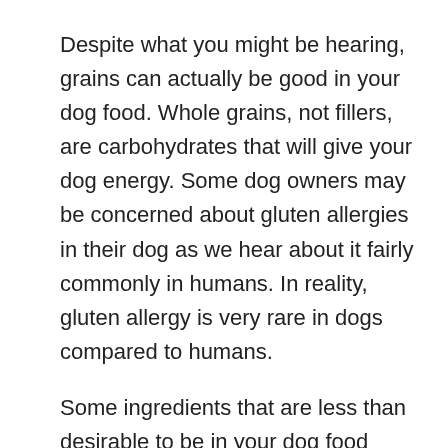Despite what you might be hearing, grains can actually be good in your dog food. Whole grains, not fillers, are carbohydrates that will give your dog energy. Some dog owners may be concerned about gluten allergies in their dog as we hear about it fairly commonly in humans. In reality, gluten allergy is very rare in dogs compared to humans.
Some ingredients that are less than desirable to be in your dog food would be fillers such as corn gluten and meat by products. These ingredients have very little nutritional value for your dog and are